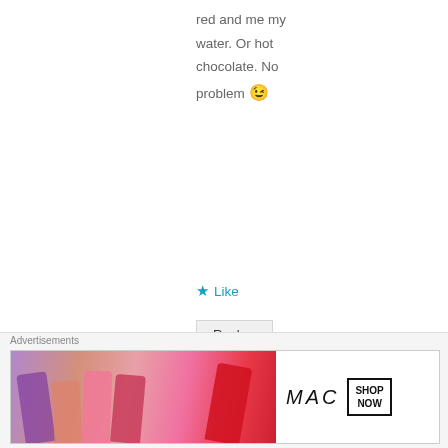red and me my water. Or hot chocolate. No problem 😉
★ Like
Reply ↓
Advertisements
[Figure (infographic): Yellow advertisement banner with bold black text reading 'Share, Discuss, Collaborate.']
[Figure (infographic): MAC Cosmetics advertisement showing colorful lipsticks with MAC logo and 'SHOP NOW' button]
Advertisements